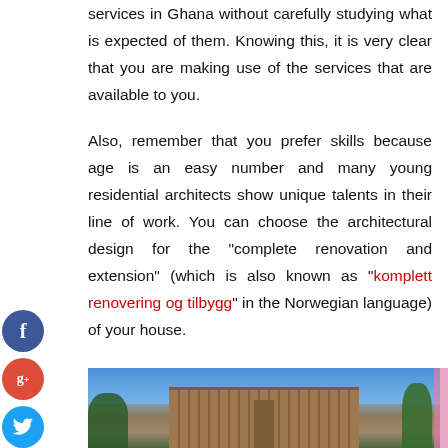services in Ghana without carefully studying what is expected of them. Knowing this, it is very clear that you are making use of the services that are available to you.
Also, remember that you prefer skills because age is an easy number and many young residential architects show unique talents in their line of work. You can choose the architectural design for the "complete renovation and extension" (which is also known as "komplett renovering og tilbygg" in the Norwegian language) of your house.
[Figure (photo): Exterior of a modern wooden-clad house or building extension with vertical timber cladding, photographed against a blue sky with trees in the background.]